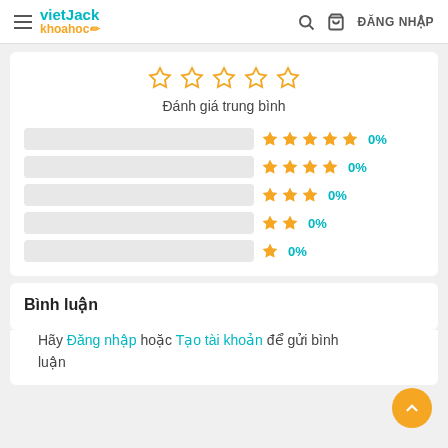vietJack khoahoc — ĐĂNG NHẬP
[Figure (other): Star rating widget showing 5 empty outline stars labeled 'Đánh giá trung bình', with 5 rating rows (5-star to 1-star), each with a grey progress bar, star icons, and 0% label]
Đánh giá trung bình
Bình luận
Hãy Đăng nhập hoặc Tạo tài khoản để gửi bình luận